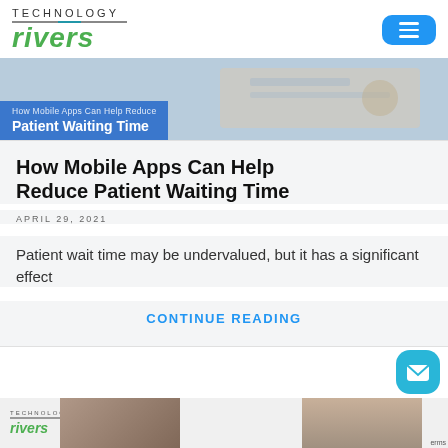TECHNOLOGY rivers
[Figure (screenshot): Hero banner image of medical clipboard and tools with blue overlay text reading 'How Mobile Apps Can Help Reduce Patient Waiting Time']
How Mobile Apps Can Help Reduce Patient Waiting Time
APRIL 29, 2021
Patient wait time may be undervalued, but it has a significant effect
CONTINUE READING
[Figure (screenshot): Bottom strip showing Technology Rivers logo and partial photo of a person]
erms